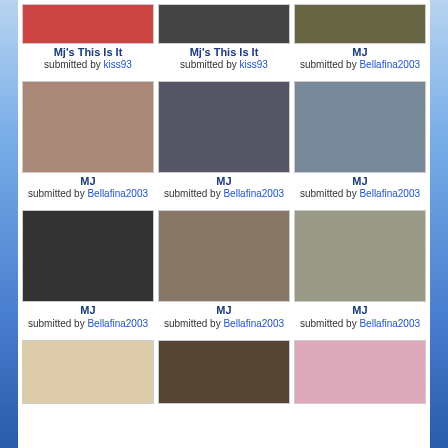[Figure (photo): Partial photo at top left - MJ This Is It, submitted by kiss93]
Mj's This Is It
submitted by kiss93
[Figure (photo): Partial photo at top center - MJ This Is It movie poster, submitted by kiss93]
Mj's This Is It
submitted by kiss93
[Figure (photo): Partial photo at top right - MJ with children, submitted by Bellafina2003]
MJ
submitted by Bellafina2003
[Figure (photo): MJ at dining table, submitted by Bellafina2003]
MJ
submitted by Bellafina2003
[Figure (photo): MJ with older man in suit, submitted by Bellafina2003]
MJ
submitted by Bellafina2003
[Figure (photo): MJ with fans, submitted by Bellafina2003]
MJ
submitted by Bellafina2003
[Figure (photo): Black and white photo of MJ, submitted by Bellafina2003]
MJ
submitted by Bellafina2003
[Figure (photo): MJ with others holding award, submitted by Bellafina2003]
MJ
submitted by Bellafina2003
[Figure (photo): MJ lying down, submitted by Bellafina2003]
MJ
submitted by Bellafina2003
[Figure (photo): Partial photo at bottom left - young MJ]
[Figure (photo): Partial photo at bottom center - group photo sepia]
[Figure (photo): Partial photo at bottom right - dark photo]